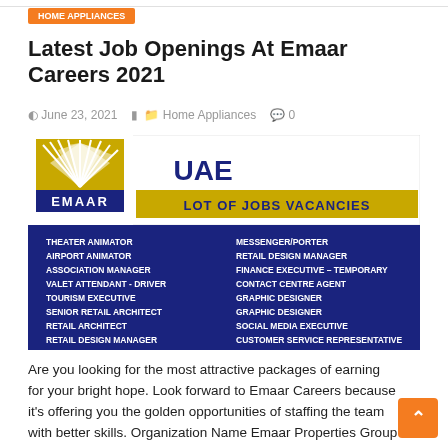Latest Job Openings At Emaar Careers 2021
June 23, 2021   Home Appliances   0
[Figure (infographic): Emaar UAE jobs vacancy advertisement with logo and list of job positions including Theater Animator, Airport Animator, Association Manager, Valet Attendant - Driver, Tourism Executive, Senior Retail Architect, Retail Architect, Retail Design Manager, Messenger/Porter, Retail Design Manager, Finance Executive - Temporary, Contact Centre Agent, Graphic Designer, Graphic Designer, Social Media Executive, Customer Service Representative]
Are you looking for the most attractive packages of earning for your bright hope. Look forward to Emaar Careers because it's offering you the golden opportunities of staffing the team with better skills. Organization Name Emaar Properties Group Job Location Dubai Nationality Selective (Update) Education Equivalent Degree/Diploma Experience Mandatory Salary Discuss During